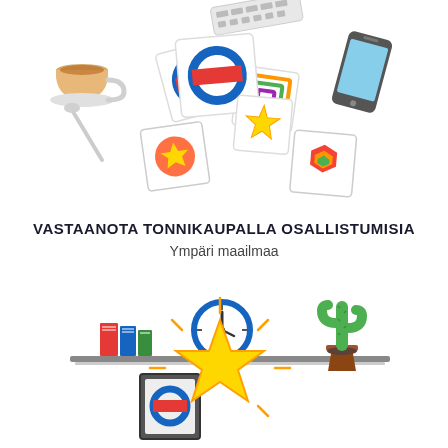[Figure (illustration): Top illustration showing scattered design cards, a cup of coffee with spoon, a smartphone, and a keyboard on a white background — a flat-style workspace scene]
VASTAANOTA TONNIKAUPALLA OSALLISTUMISIA
Ympäri maailmaa
[Figure (illustration): Bottom illustration showing a shelf with stacked books, a clock, and a cactus plant, with a framed circle logo, a glowing yellow star with radiating lines below]